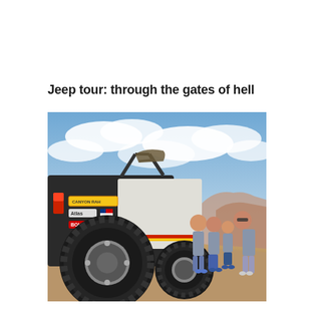Jeep tour: through the gates of hell
[Figure (photo): A modified white Jeep Wrangler with roll cage, stickers including Atlas and BOLT brands, and large off-road tires, parked on a rocky outcrop. A group of four people (two adults and two children) stand beside the Jeep posing for a photo, with a dramatic desert canyon landscape and cloudy blue sky in the background.]